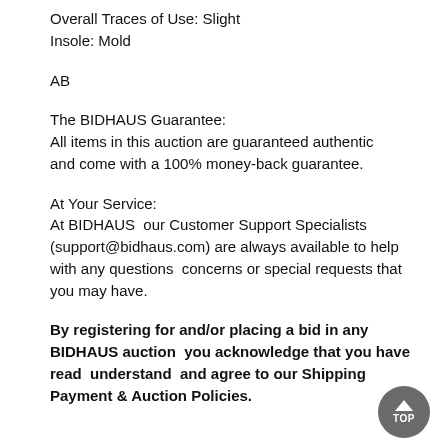Overall Traces of Use: Slight
Insole: Mold
AB
The BIDHAUS Guarantee:
All items in this auction are guaranteed authentic and come with a 100% money-back guarantee.
At Your Service:
At BIDHAUS  our Customer Support Specialists (support@bidhaus.com) are always available to help with any questions  concerns or special requests that you may have.
By registering for and/or placing a bid in any BIDHAUS auction  you acknowledge that you have read  understand  and agree to our Shipping Payment & Auction Policies.